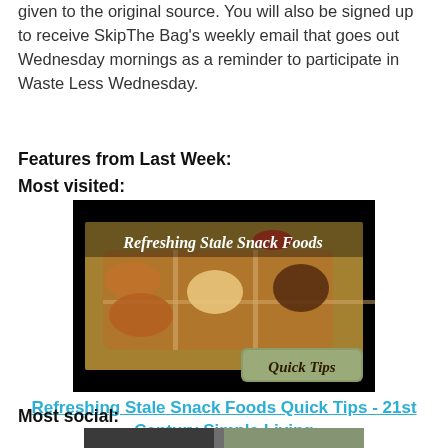given to the original source. You will also be signed up to receive SkipThe Bag's weekly email that goes out Wednesday mornings as a reminder to participate in Waste Less Wednesday.
Features from Last Week:
Most visited:
[Figure (photo): Photo of bowls of mixed snack foods (nuts, crackers, dried fruits) with text overlay 'Refreshing Stale Snack Foods' and a 'Quick Tips' badge in the corner, on a black background.]
Refreshing Stale Snack Foods Quick Tips - 21st Century Simple Living
Most social:
[Figure (photo): Partial image of what appears to be a close-up of dark textured food or natural material, cut off at the bottom of the page.]